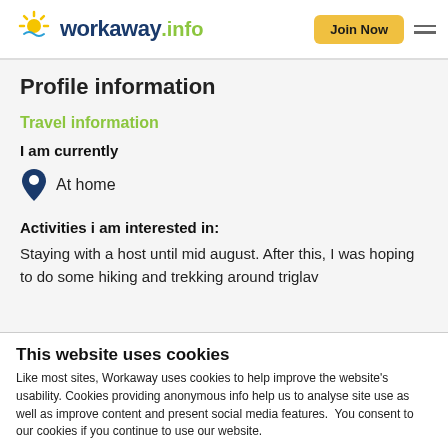[Figure (logo): Workaway.info logo with sun icon]
Join Now
Profile information
Travel information
I am currently
At home
Activities i am interested in:
Staying with a host until mid august. After this, I was hoping to do some hiking and trekking around triglav
This website uses cookies
Like most sites, Workaway uses cookies to help improve the website's usability. Cookies providing anonymous info help us to analyse site use as well as improve content and present social media features.  You consent to our cookies if you continue to use our website.
OK
Settings